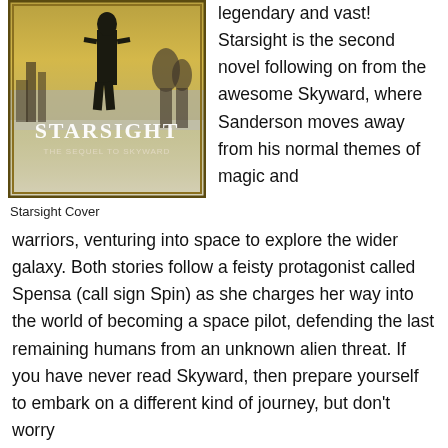[Figure (photo): Book cover of 'Starsight: The Sequel to Skyward' showing a silhouetted figure standing before a misty cityscape with yellow and grey tones.]
Starsight Cover
legendary and vast! Starsight is the second novel following on from the awesome Skyward, where Sanderson moves away from his normal themes of magic and warriors, venturing into space to explore the wider galaxy. Both stories follow a feisty protagonist called Spensa (call sign Spin) as she charges her way into the world of becoming a space pilot, defending the last remaining humans from an unknown alien threat. If you have never read Skyward, then prepare yourself to embark on a different kind of journey, but don't worry